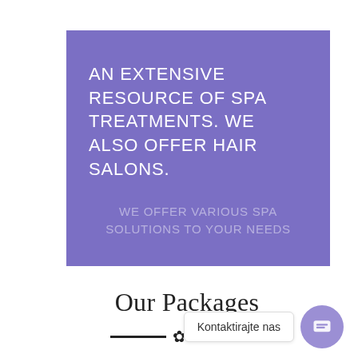[Figure (infographic): Purple/violet square background box containing two text blocks: a main white uppercase heading 'AN EXTENSIVE RESOURCE OF SPA TREATMENTS. WE ALSO OFFER HAIR SALONS.' and a lighter/faded uppercase subtext 'WE OFFER VARIOUS SPA SOLUTIONS TO YOUR NEEDS']
Our Packages
[Figure (illustration): Decorative divider consisting of two short black horizontal lines flanking a flower/asterisk symbol in the center]
We offer (cursive decorative text, partially visible)
[Figure (screenshot): Chat widget overlay in lower right: white rounded rectangle with text 'Kontaktirajte nas' and a purple circle with a chat/message icon]